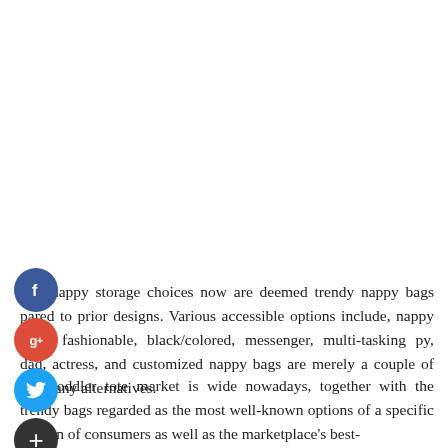[Figure (other): Social media sharing icons sidebar: Facebook (blue circle with f), Google+ (red circle with g+), Twitter (blue circle with bird), and a dark circle with plus sign]
The nappy storage choices now are deemed trendy nappy bags pared to prior designs. Various accessible options include, nappy bags, fashionable, black/colored, messenger, multi-tasking py, dad, actress, and customized nappy bags are merely a couple of the many alternatives.
The toddler tote market is wide nowadays, together with the trendy bags regarded as the most well-known options of a specific section of consumers as well as the marketplace's best-